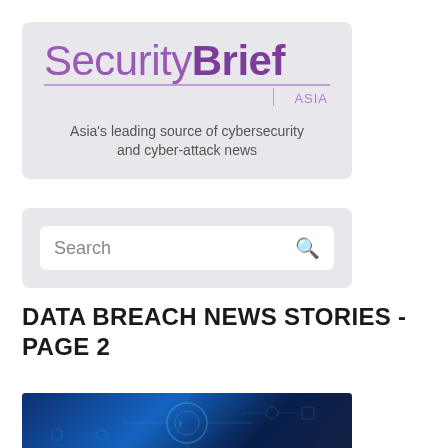[Figure (logo): SecurityBrief Asia logo with tagline: Asia's leading source of cybersecurity and cyber-attack news]
Search
DATA BREACH NEWS STORIES - PAGE 2
[Figure (photo): Dark blue cybersecurity themed image with circuit board and digital elements]